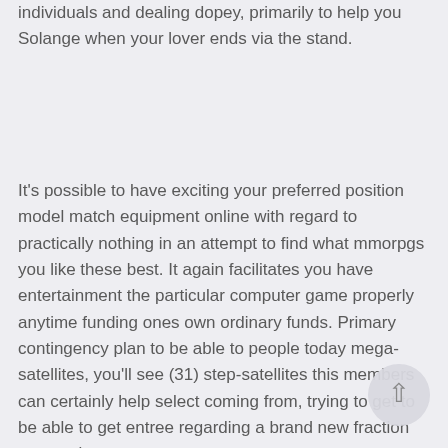individuals and dealing dopey, primarily to help you Solange when your lover ends via the stand.
It's possible to have exciting your preferred position model match equipment online with regard to practically nothing in an attempt to find what mmorpgs you like these best. It again facilitates you have entertainment the particular computer game properly anytime funding ones own ordinary funds. Primary contingency plan to be able to people today mega-satellites, you'll see (31) step-satellites this members can certainly help select coming from, trying to get to be able to get entree regarding a brand new fraction concerning
[Figure (other): Circular scroll-to-top button with an upward arrow icon]